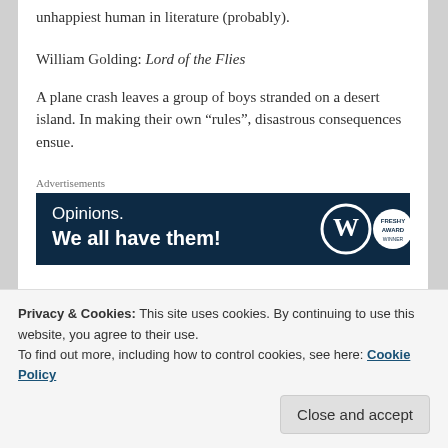unhappiest human in literature (probably).
William Golding: Lord of the Flies
A plane crash leaves a group of boys stranded on a desert island. In making their own “rules”, disastrous consequences ensue.
[Figure (other): WordPress advertisement banner: dark navy background with text 'Opinions. We all have them!' and WordPress logo circle and Freshy award circle on the right.]
Henrik Ibsen: A Doll’s House
Privacy & Cookies: This site uses cookies. By continuing to use this website, you agree to their use.
To find out more, including how to control cookies, see here: Cookie Policy
Another play: this one explores a group of girls living in a